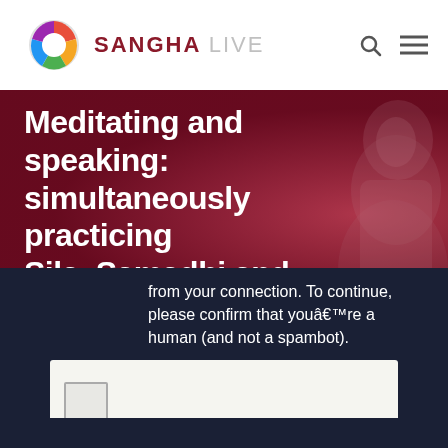SANGHA LIVE
Meditating and speaking: simultaneously practicing Sila, Samadhi and Panna
from your connection. To continue, please confirm that youâ€™re a human (and not a spambot).
[Figure (other): reCAPTCHA checkbox widget inside a white rounded box on dark navy background]